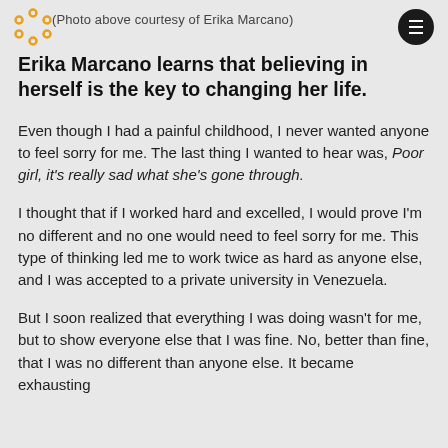(Photo above courtesy of Erika Marcano)
Erika Marcano learns that believing in herself is the key to changing her life.
Even though I had a painful childhood, I never wanted anyone to feel sorry for me. The last thing I wanted to hear was, Poor girl, it's really sad what she's gone through.
I thought that if I worked hard and excelled, I would prove I'm no different and no one would need to feel sorry for me. This type of thinking led me to work twice as hard as anyone else, and I was accepted to a private university in Venezuela.
But I soon realized that everything I was doing wasn't for me, but to show everyone else that I was fine. No, better than fine, that I was no different than anyone else. It became exhausting